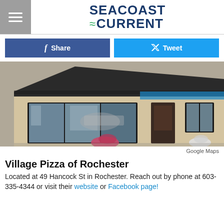SEACOAST CURRENT
[Figure (other): Facebook Share button and Twitter Tweet button]
[Figure (photo): Exterior photo of Village Pizza of Rochester building showing storefront with large windows, dark roof, and flower planters. Labeled Google Maps.]
Google Maps
Village Pizza of Rochester
Located at 49 Hancock St in Rochester. Reach out by phone at 603-335-4344 or visit their website or Facebook page!